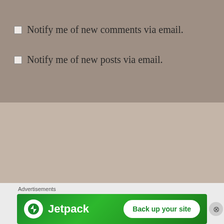Notify me of new comments via email.
Notify me of new posts via email.
PREVIOUS
The Future of Mankind
NEXT
[Figure (screenshot): Jetpack advertisement banner with logo and 'Back up your site' button]